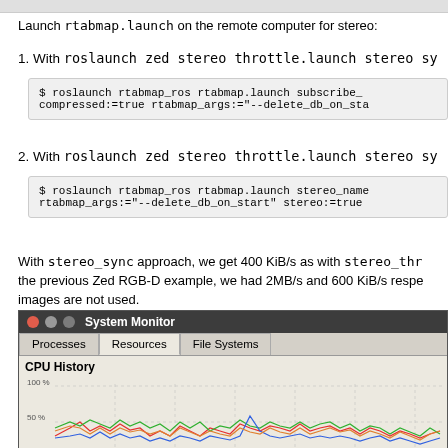Launch rtabmap.launch on the remote computer for stereo:
1. With roslaunch zed_stereo_throttle.launch stereo_sy...
$ roslaunch rtabmap_ros rtabmap.launch subscribe_... compressed:=true rtabmap_args:="--delete_db_on_sta...
2. With roslaunch zed_stereo_throttle.launch stereo_sy...
$ roslaunch rtabmap_ros rtabmap.launch stereo_name... rtabmap_args:="--delete_db_on_start" stereo:=true ...
With stereo_sync approach, we get 400 KiB/s as with stereo_thr... the previous Zed RGB-D example, we had 2MB/s and 600 KiB/s respe... images are not used.
[Figure (screenshot): System Monitor application screenshot showing CPU History chart with Processes, Resources, File Systems tabs. CPU history graph shows multiple colored lines (red, green, blue, orange) fluctuating around 25-60% with 100%, 50%, 0% y-axis labels.]